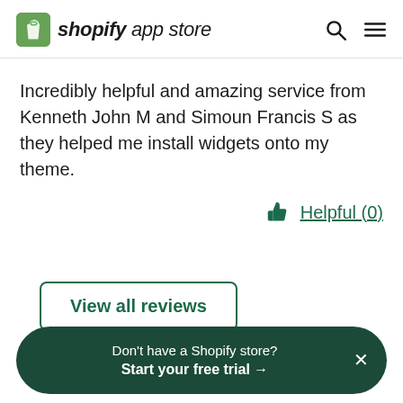shopify app store
Incredibly helpful and amazing service from Kenneth John M and Simoun Francis S as they helped me install widgets onto my theme.
Helpful (0)
View all reviews
Don't have a Shopify store? Start your free trial →